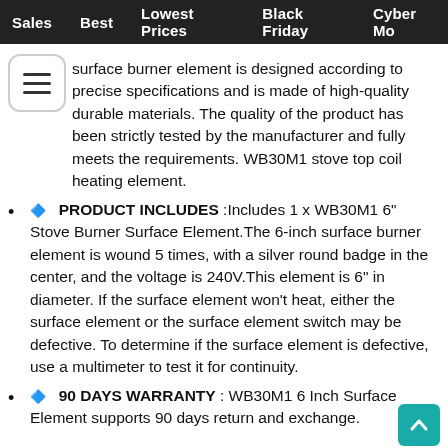Sales   Best   Lowest Prices   Black Friday   Cyber Mo
surface burner element is designed according to precise specifications and is made of high-quality durable materials. The quality of the product has been strictly tested by the manufacturer and fully meets the requirements. WB30M1 stove top coil heating element.
🔷  PRODUCT INCLUDES :Includes 1 x WB30M1 6" Stove Burner Surface Element.The 6-inch surface burner element is wound 5 times, with a silver round badge in the center, and the voltage is 240V.This element is 6" in diameter. If the surface element won't heat, either the surface element or the surface element switch may be defective. To determine if the surface element is defective, use a multimeter to test it for continuity.
🔷  90 DAYS WARRANTY : WB30M1 6 Inch Surface Element supports 90 days return and exchange.